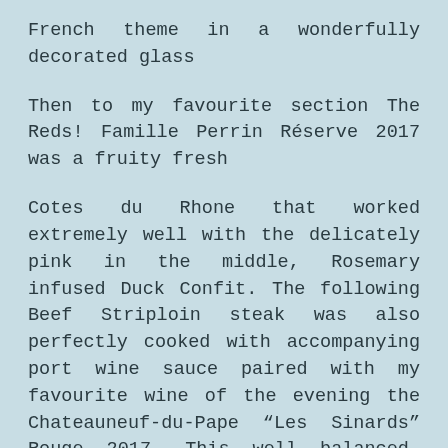French theme in a wonderfully decorated glass
Then to my favourite section The Reds! Famille Perrin Réserve 2017 was a fruity fresh
Cotes du Rhone that worked extremely well with the delicately pink in the middle, Rosemary infused Duck Confit. The following Beef Striploin steak was also perfectly cooked with accompanying port wine sauce paired with my favourite wine of the evening the Chateauneuf-du-Pape “Les Sinards” Rouge 2017. This well balanced, full-bodied red is everything you could want from a wine. I tore myself away from it to enjoy the light and inventive dessert of Mango cream, Coconut Mousse, and Passion